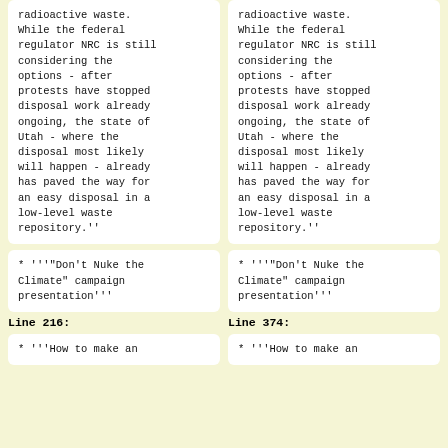radioactive waste. While the federal regulator NRC is still considering the options - after protests have stopped disposal work already ongoing, the state of Utah - where the disposal most likely will happen - already has paved the way for an easy disposal in a low-level waste repository.''
radioactive waste. While the federal regulator NRC is still considering the options - after protests have stopped disposal work already ongoing, the state of Utah - where the disposal most likely will happen - already has paved the way for an easy disposal in a low-level waste repository.''
* '''"Don't Nuke the Climate" campaign presentation'''
* '''"Don't Nuke the Climate" campaign presentation'''
Line 216:
Line 374:
* '''How to make an
* '''How to make an